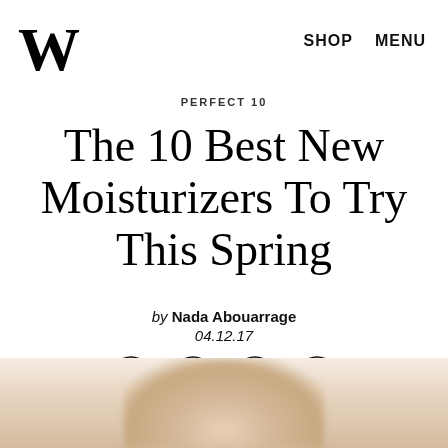W  SHOP  MENU
PERFECT 10
The 10 Best New Moisturizers To Try This Spring
by Nada Abouarrage
04.12.17
[Figure (infographic): Social sharing icons: Facebook, Twitter, link/chain, envelope/email — each in a circle outline]
[Figure (photo): Blurred partial image of a hand or cream product, warm peachy/cream tones, cut off at bottom of page]